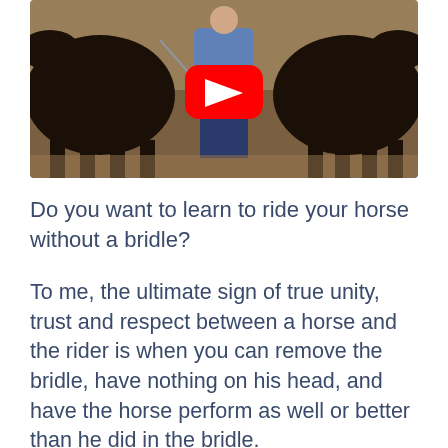[Figure (screenshot): YouTube video thumbnail showing a person standing between two dark horses in an indoor arena, with a red YouTube play button overlay in the center]
Do you want to learn to ride your horse without a bridle?
To me, the ultimate sign of true unity, trust and respect between a horse and the rider is when you can remove the bridle, have nothing on his head, and have the horse perform as well or better than he did in the bridle.